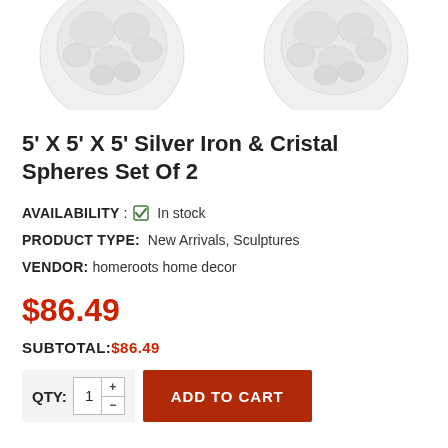[Figure (photo): Two silver iron and crystal spheres shown from above, partially cropped at the top of the page]
5' X 5' X 5' Silver Iron & Cristal Spheres Set Of 2
AVAILABILITY : ✅ In stock
PRODUCT TYPE: New Arrivals, Sculptures
VENDOR: homeroots home decor
$86.49
SUBTOTAL: $86.49
QTY: 1 ADD TO CART